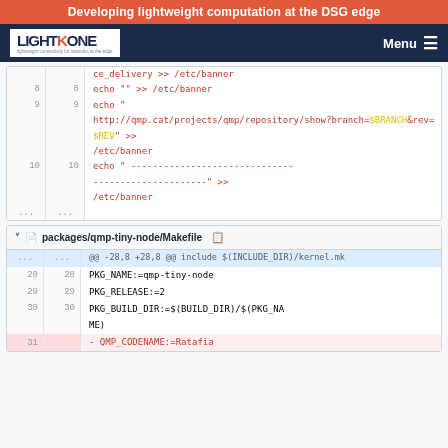Developing lightweight computation at the DSG edge
[Figure (screenshot): Navigation bar with LightKone logo and Menu button]
Code diff snippet showing lines 8-10 of a shell script with echo commands appending to /etc/banner, followed by ellipsis
packages/qmp-tiny-node/Makefile
Diff hunk: @@ -28,8 +28,8 @@ include $(INCLUDE_DIR)/kernel.mk
Lines 28-31: PKG_NAME:=qmp-tiny-node, PKG_RELEASE:=2, PKG_BUILD_DIR:=$(BUILD_DIR)/$(PKG_NAME), - QMP_CODENAME:=Ratafia